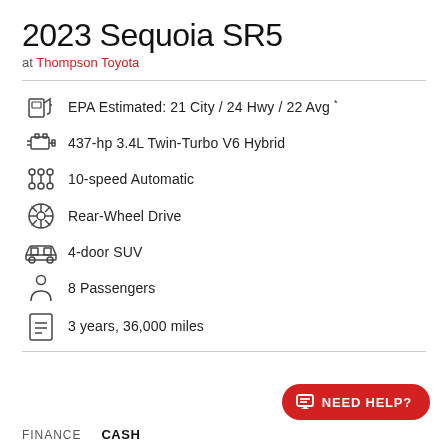2023 Sequoia SR5
at Thompson Toyota
EPA Estimated: 21 City / 24 Hwy / 22 Avg *
437-hp 3.4L Twin-Turbo V6 Hybrid
10-speed Automatic
Rear-Wheel Drive
4-door SUV
8 Passengers
3 years, 36,000 miles
NEED HELP?
FINANCE   CASH